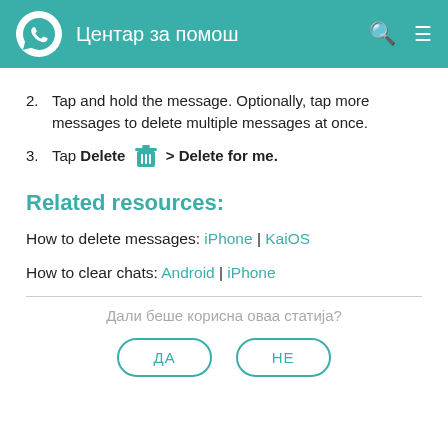Центар за помош
2. Tap and hold the message. Optionally, tap more messages to delete multiple messages at once.
3. Tap Delete [trash icon] > Delete for me.
Related resources:
How to delete messages: iPhone | KaiOS
How to clear chats: Android | iPhone
Дали беше корисна оваа статија?
ДА  НЕ